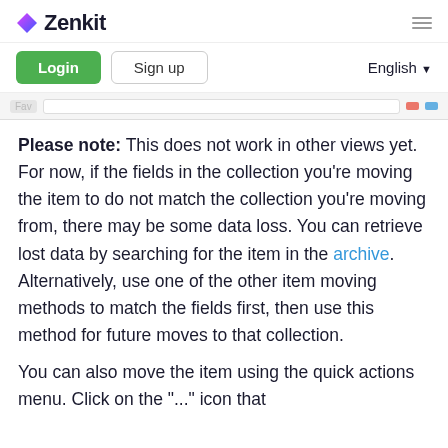Zenkit
Login  Sign up  English
Please note: This does not work in other views yet. For now, if the fields in the collection you're moving the item to do not match the collection you're moving from, there may be some data loss. You can retrieve lost data by searching for the item in the archive. Alternatively, use one of the other item moving methods to match the fields first, then use this method for future moves to that collection.
You can also move the item using the quick actions menu. Click on the "..." icon that